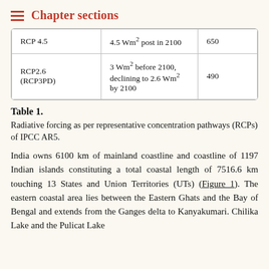Chapter sections
| RCP 4.5 | 4.5 Wm² post in 2100 | 650 |
| RCP2.6 (RCP3PD) | 3 Wm² before 2100, declining to 2.6 Wm² by 2100 | 490 |
Table 1. Radiative forcing as per representative concentration pathways (RCPs) of IPCC AR5.
India owns 6100 km of mainland coastline and coastline of 1197 Indian islands constituting a total coastal length of 7516.6 km touching 13 States and Union Territories (UTs) (Figure 1). The eastern coastal area lies between the Eastern Ghats and the Bay of Bengal and extends from the Ganges delta to Kanyakumari. Chilika Lake and the Pulicat Lake